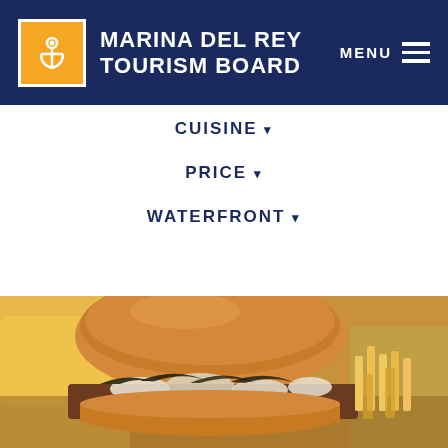MARINA DEL REY TOURISM BOARD
CUISINE ▾
PRICE ▾
WATERFRONT ▾
[Figure (photo): Close-up photo of a gourmet burger with melted cheese, dark garnish on top, served with french fries on the side, on a restaurant table with a yellow drink in the background.]